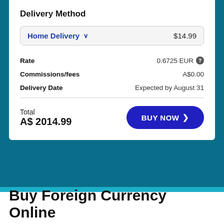Delivery Method
Home Delivery   $14.99
Rate   0.6725 EUR
Commissions/fees   A$0.00
Delivery Date   Expected by August 31
Total
A$ 2014.99
BUY NOW
Buy Foreign Currency Online